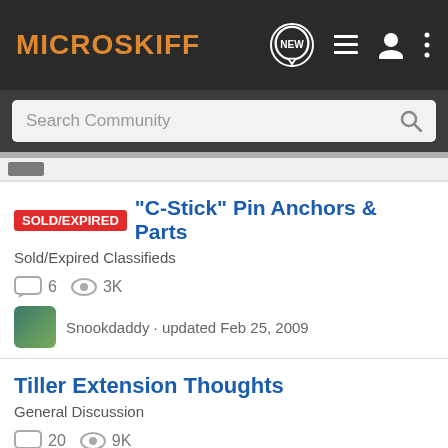MICROSKIFF
Search Community
SOLD/EXPIRED "C-Stick" Pin Anchors & Parts
Sold/Expired Classifieds
6 replies 3K views
Snookdaddy · updated Feb 25, 2009
Tiller Extension Thoughts
General Discussion
20 replies 9K views
Ta... · updated Aug 20, 2017
[Figure (photo): Advanced Elements inflatable kayak advertisement banner: orange kayak on water, text 'The evolution of inflatable kayaks - Designed to perform. Built for your next adventure.' with Advanced Elements logo]